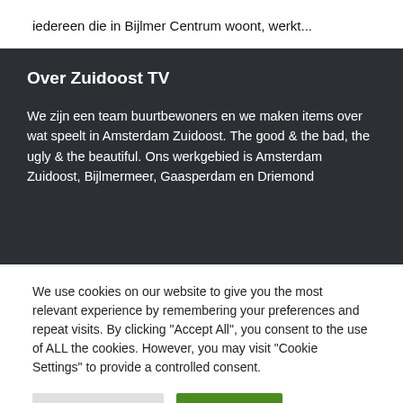iedereen die in Bijlmer Centrum woont, werkt...
Over Zuidoost TV
We zijn een team buurtbewoners en we maken items over wat speelt in Amsterdam Zuidoost. The good & the bad, the ugly & the beautiful. Ons werkgebied is Amsterdam Zuidoost, Bijlmermeer, Gaasperdam en Driemond...
We use cookies on our website to give you the most relevant experience by remembering your preferences and repeat visits. By clicking "Accept All", you consent to the use of ALL the cookies. However, you may visit "Cookie Settings" to provide a controlled consent.
Cookie Settings | Accept All